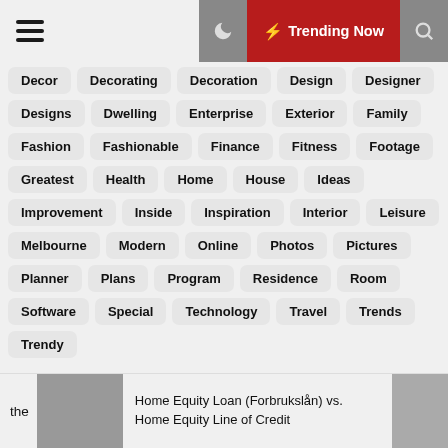Trending Now
Decor
Decorating
Decoration
Design
Designer
Designs
Dwelling
Enterprise
Exterior
Family
Fashion
Fashionable
Finance
Fitness
Footage
Greatest
Health
Home
House
Ideas
Improvement
Inside
Inspiration
Interior
Leisure
Melbourne
Modern
Online
Photos
Pictures
Planner
Plans
Program
Residence
Room
Software
Special
Technology
Travel
Trends
Trendy
the
Home Equity Loan (Forbrukslån) vs. Home Equity Line of Credit